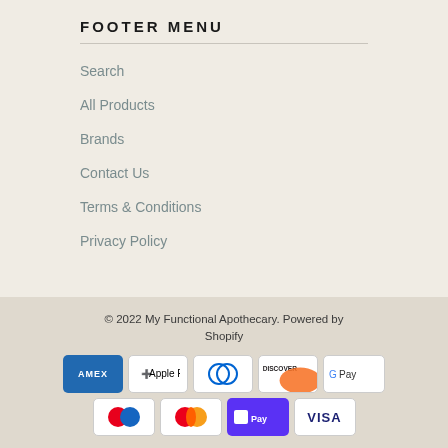FOOTER MENU
Search
All Products
Brands
Contact Us
Terms & Conditions
Privacy Policy
© 2022 My Functional Apothecary. Powered by Shopify
[Figure (logo): Payment method icons: American Express, Apple Pay, Diners Club, Discover, Google Pay, Shop Pay, Mastercard, Shop Pay, Visa]